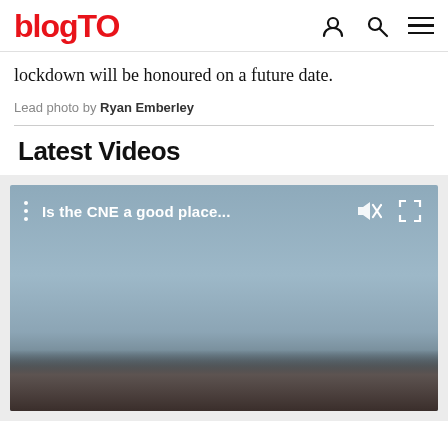blogTO
lockdown will be honoured on a future date.
Lead photo by Ryan Emberley
Latest Videos
[Figure (screenshot): Video player showing 'Is the CNE a good place...' with mute and fullscreen icons on a blue-grey gradient background]